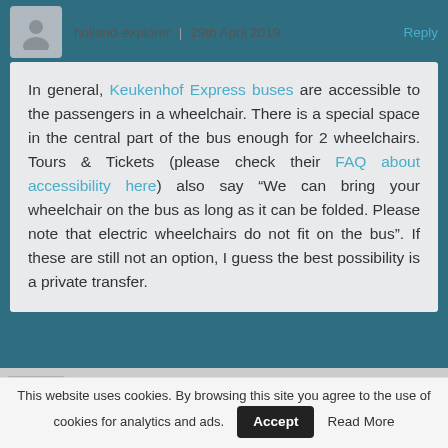holland-explorer | 29th April 2019 Reply
In general, Keukenhof Express buses are accessible to the passengers in a wheelchair. There is a special space in the central part of the bus enough for 2 wheelchairs. Tours & Tickets (please check their FAQ about accessibility here) also say “We can bring your wheelchair on the bus as long as it can be folded. Please note that electric wheelchairs do not fit on the bus”. If these are still not an option, I guess the best possibility is a private transfer.
Xavier | 3rd May 2019 Reply
This website uses cookies. By browsing this site you agree to the use of cookies for analytics and ads. Accept Read More